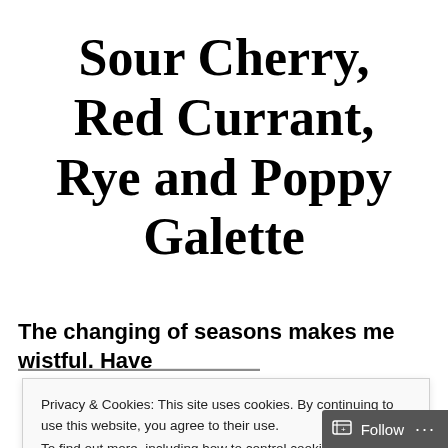Sour Cherry, Red Currant, Rye and Poppy Galette
The changing of seasons makes me wistful. Have
Privacy & Cookies: This site uses cookies. By continuing to use this website, you agree to their use.
To find out more, including how to control cookies, see here: Cookie Policy
Close and accept
Follow